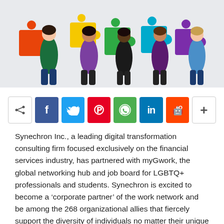[Figure (illustration): Illustration of six diverse people holding colorful interlocking puzzle pieces (orange, yellow, green, teal, blue, purple) against a light grey background, representing diversity and teamwork.]
[Figure (infographic): Social sharing bar with icons: share button, Facebook (blue), Twitter (light blue), Pinterest (red), WhatsApp (green), LinkedIn (blue), Reddit (orange-red), and a plus/more button.]
Synechron Inc., a leading digital transformation consulting firm focused exclusively on the financial services industry, has partnered with myGwork, the global networking hub and job board for LGBTQ+ professionals and students. Synechron is excited to become a ‘corporate partner’ of the work network and be among the 268 organizational allies that fiercely support the diversity of individuals no matter their unique culture, backgrounds, or lifestyles. As such, Synechron is proud to maintain a dedicated webpage as part of the